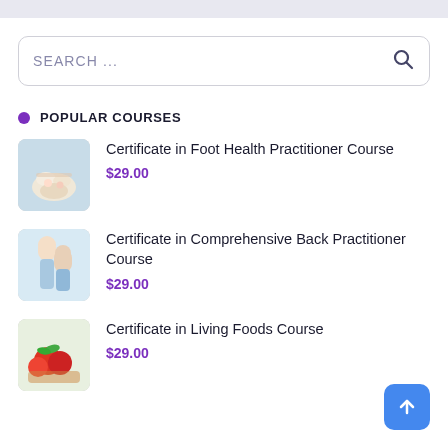SEARCH ...
POPULAR COURSES
Certificate in Foot Health Practitioner Course — $29.00
Certificate in Comprehensive Back Practitioner Course — $29.00
Certificate in Living Foods Course — $29.00